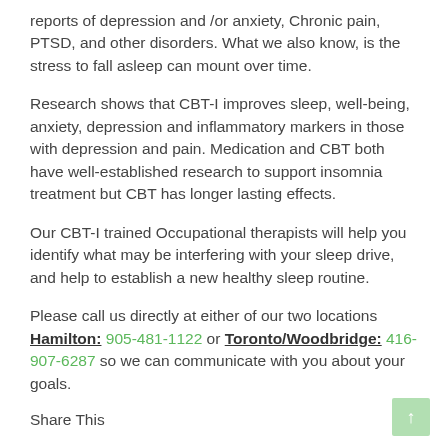reports of depression and /or anxiety, Chronic pain, PTSD, and other disorders. What we also know, is the stress to fall asleep can mount over time.
Research shows that CBT-I improves sleep, well-being, anxiety, depression and inflammatory markers in those with depression and pain. Medication and CBT both have well-established research to support insomnia treatment but CBT has longer lasting effects.
Our CBT-I trained Occupational therapists will help you identify what may be interfering with your sleep drive, and help to establish a new healthy sleep routine.
Please call us directly at either of our two locations Hamilton: 905-481-1122 or Toronto/Woodbridge: 416-907-6287 so we can communicate with you about your goals.
Share This